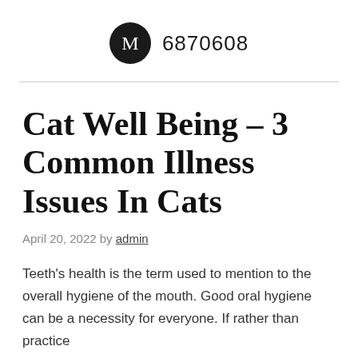M  6870608
Cat Well Being – 3 Common Illness Issues In Cats
April 20, 2022 by admin
Teeth's health is the term used to mention to the overall hygiene of the mouth. Good oral hygiene can be a necessity for everyone. If rather than practice